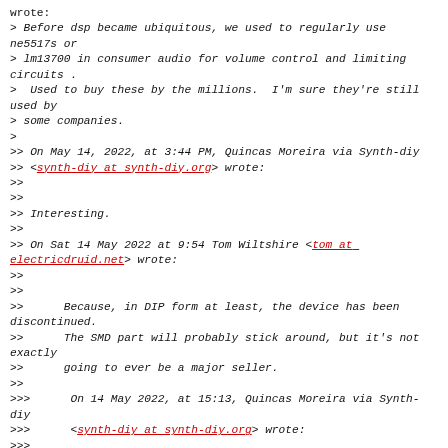wrote:
> Before dsp became ubiquitous, we used to regularly use ne5517s or
> lm13700 in consumer audio for volume control and limiting circuits .
>  Used to buy these by the millions.  I'm sure they're still used by
> some companies.
>
>> On May 14, 2022, at 3:44 PM, Quincas Moreira via Synth-diy
>> <synth-diy at synth-diy.org> wrote:
>>
>>
>> Interesting.
>>
>> On Sat 14 May 2022 at 9:54 Tom Wiltshire <tom at electricdruid.net> wrote:
>>
>>
>>      Because, in DIP form at least, the device has been discontinued.
>>      The SMD part will probably stick around, but it's not exactly
>>      going to ever be a major seller.
>>
>>>      On 14 May 2022, at 15:13, Quincas Moreira via Synth-diy
>>>      <synth-diy at synth-diy.org> wrote:
>>>